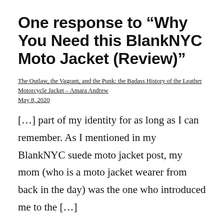One response to “Why You Need this BlankNYC Moto Jacket (Review)”
The Outlaw, the Vagrant, and the Punk: the Badass History of the Leather Motorcycle Jacket – Amara Andrew
May 8, 2020
[...] part of my identity for as long as I can remember. As I mentioned in my BlankNYC suede moto jacket post, my mom (who is a moto jacket wearer from back in the day) was the one who introduced me to the [...]